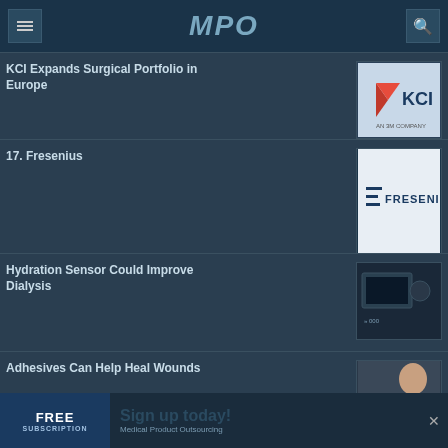MPO
KCI Expands Surgical Portfolio in Europe
[Figure (logo): KCI logo - an 3M company]
17. Fresenius
[Figure (logo): Fresenius logo]
Hydration Sensor Could Improve Dialysis
[Figure (photo): Dialysis equipment photo]
Adhesives Can Help Heal Wounds
[Figure (photo): Wound adhesive bandage on arm]
FREE SUBSCRIPTION Sign up today! Medical Product Outsourcing